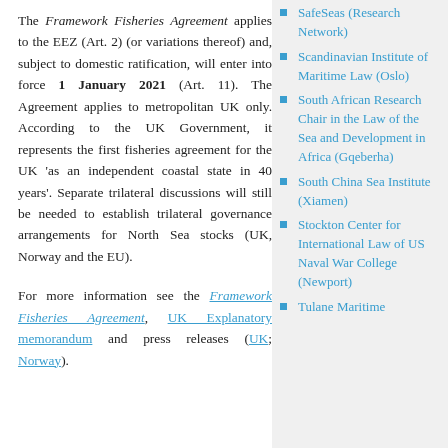The Framework Fisheries Agreement applies to the EEZ (Art. 2) (or variations thereof) and, subject to domestic ratification, will enter into force 1 January 2021 (Art. 11). The Agreement applies to metropolitan UK only. According to the UK Government, it represents the first fisheries agreement for the UK 'as an independent coastal state in 40 years'. Separate trilateral discussions will still be needed to establish trilateral governance arrangements for North Sea stocks (UK, Norway and the EU).
For more information see the Framework Fisheries Agreement, UK Explanatory memorandum and press releases (UK; Norway).
SafeSeas (Research Network)
Scandinavian Institute of Maritime Law (Oslo)
South African Research Chair in the Law of the Sea and Development in Africa (Gqeberha)
South China Sea Institute (Xiamen)
Stockton Center for International Law of US Naval War College (Newport)
Tulane Maritime